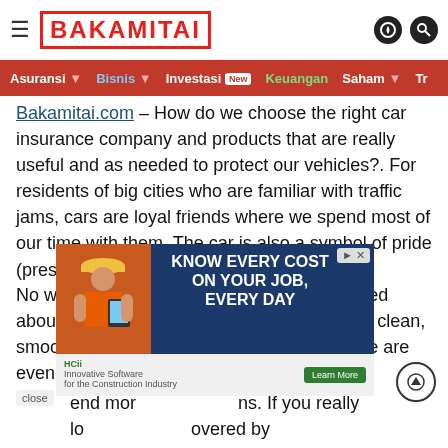BAKAMITAI
Asuransi · Bisnis · Investasi New · Keuangan · Saham · Tr
Bakamitai.com – How do we choose the right car insurance company and products that are really useful and as needed to protect our vehicles?. For residents of big cities who are familiar with traffic jams, cars are loyal friends where we spend most of our time with them. The car is also a symbol of pride (prestige) for some people.
No wonder, if many people are very concerned about the care of their car so that it is always clean, smooth and the engine is tokcer. Most people are even willing end more ... ns. If you really lo ... overed by insuranc ... insurance ... useful?
[Figure (infographic): Advertisement overlay: 'KNOW EVERY COST ON YOUR JOB, EVERY DAY' with construction worker image, and a bottom ad bar for Innovative Software for the Construction Industry with Learn More button]